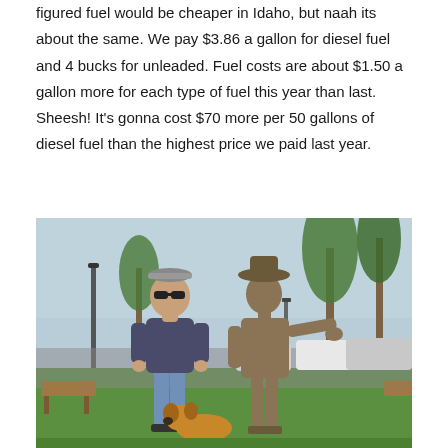figured fuel would be cheaper in Idaho, but naah its about the same. We pay $3.86 a gallon for diesel fuel and 4 bucks for unleaded. Fuel costs are about $1.50 a gallon more for each type of fuel this year than last. Sheesh! It's gonna cost $70 more per 50 gallons of diesel fuel than the highest price we paid last year.
[Figure (photo): A man wearing sunglasses and a visor stands next to a bronze statue of a man in a hat, with a dog at their feet. They are in a park-like setting with green grass, trees, parked cars, and a clear sky in the background.]